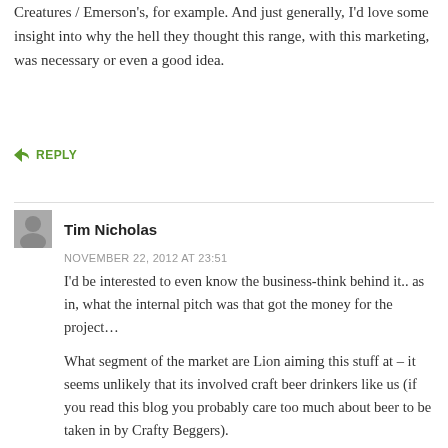Creatures / Emerson's, for example. And just generally, I'd love some insight into why the hell they thought this range, with this marketing, was necessary or even a good idea.
↳ REPLY
Tim Nicholas
NOVEMBER 22, 2012 AT 23:51
I'd be interested to even know the business-think behind it.. as in, what the internal pitch was that got the money for the project…
What segment of the market are Lion aiming this stuff at – it seems unlikely that its involved craft beer drinkers like us (if you read this blog you probably care too much about beer to be taken in by Crafty Beggers).